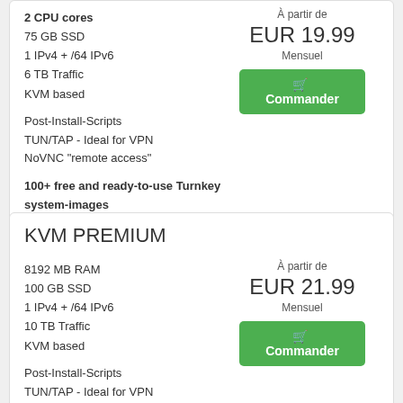2 CPU cores
75 GB SSD
1 IPv4 + /64 IPv6
6 TB Traffic
KVM based
À partir de
EUR 19.99
Mensuel
Commander
Post-Install-Scripts
TUN/TAP - Ideal for VPN
NoVNC "remote access"
100+ free and ready-to-use Turnkey system-images
KVM PREMIUM
8192 MB RAM
100 GB SSD
1 IPv4 + /64 IPv6
10 TB Traffic
KVM based
À partir de
EUR 21.99
Mensuel
Commander
Post-Install-Scripts
TUN/TAP - Ideal for VPN
NoVNC "remote access"